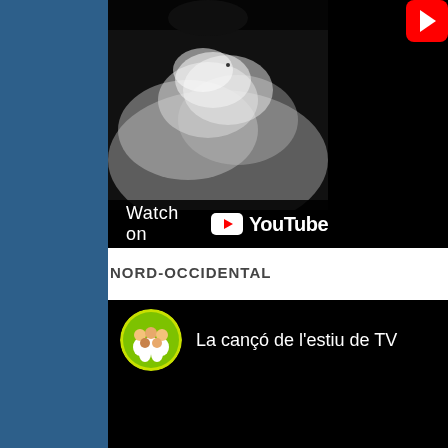[Figure (screenshot): Blue sidebar on the left side of the page]
[Figure (screenshot): YouTube embedded video player showing a dark smoky/cloudy black and white image with a 'Watch on YouTube' bar at the bottom and YouTube logo in top right corner]
NORD-OCCIDENTAL
[Figure (screenshot): YouTube embedded video player (black background) showing channel avatar (group of people in white clothes on green/yellow background) and video title 'La cançó de l'estiu de TV']